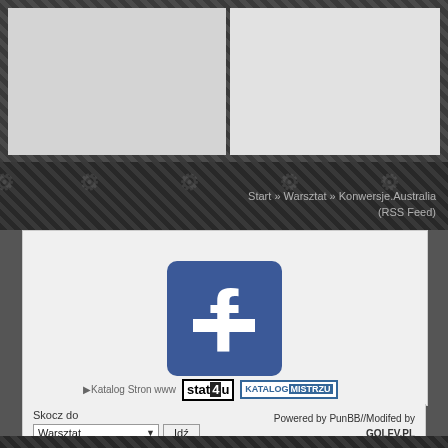[Figure (screenshot): Two light gray placeholder boxes on a dark diagonal stripe background at the top of the page]
Start » Warsztat » Konwersje.Australia (RSS Feed)
[Figure (screenshot): Web page footer area showing Katalog Stron www badge, stat4u badge, KATALOG MISTRZU badge, and a Facebook icon]
Skocz do
Warsztat
Idź
Powered by PunBB//Modifed by GOLFV.PL